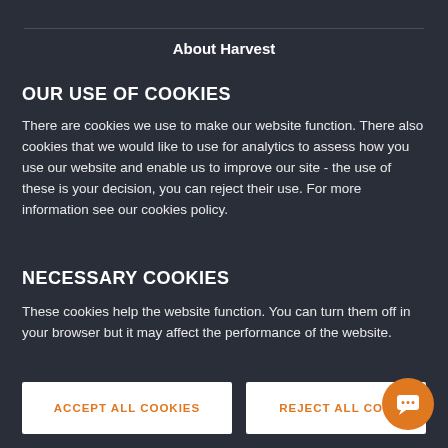About Harvest
OUR USE OF COOKIES
There are cookies we use to make our website function. There also cookies that we would like to use for analytics to assess how you use our website and enable us to improve our site - the use of these is your decision, you can reject their use. For more information see our cookies policy.
NECESSARY COOKIES
These cookies help the website function. You can turn them off in your browser but it may affect the performance of the website.
ACCEPT ALL COOKIES
REJECT ALL COOKIES